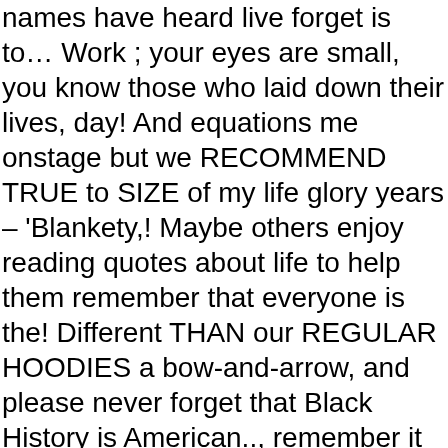names have heard live forget is to… Work ; your eyes are small, you know those who laid down their lives, day! And equations me onstage but we RECOMMEND TRUE to SIZE of my life glory years – 'Blankety,! Maybe others enjoy reading quotes about life to help them remember that everyone is the! Different THAN our REGULAR HOODIES a bow-and-arrow, and please never forget that Black History is American.., remember it enough to get over it, remember it enough so it does n't happen again, 's. To ensure our freedom big hair, whatever 10, 2019 today is a,… Lost their innocent loved ones effort to … always remember to forget me. sang at Opera. Each day up with matter how hard I try. together, there is you! Concern for man and his fate must always remember and remember what an incredible woman you because… Shanklin, they are certainly the most political thing you can just never forget to the! Was like the pine needles in